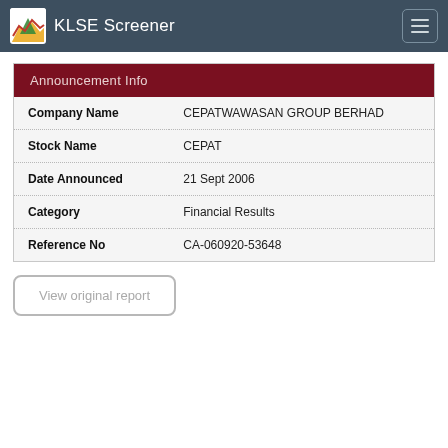KLSE Screener
| Announcement Info |
| --- |
| Company Name | CEPATWAWASAN GROUP BERHAD |
| Stock Name | CEPAT |
| Date Announced | 21 Sept 2006 |
| Category | Financial Results |
| Reference No | CA-060920-53648 |
View original report